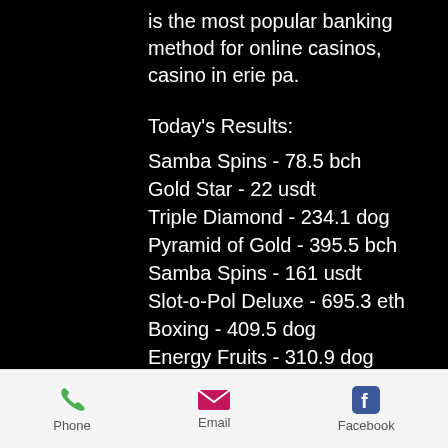is the most popular banking method for online casinos, casino in erie pa.
Today's Results:
Samba Spins - 78.5 bch
Gold Star - 22 usdt
Triple Diamond - 234.1 dog
Pyramid of Gold - 395.5 bch
Samba Spins - 161 usdt
Slot-o-Pol Deluxe - 695.3 eth
Boxing - 409.5 dog
Energy Fruits - 310.9 dog
Playboy - 461.8 ltc
Basic Instinct - 368.4 btc
Floras Secret - 225.1 eth
Roman Legion Golden Nights - 553.7 eth
Mad Mad Monkey - 7.4 eth
Wild Rapa Nui - 339.7 btc
Flea Market - 123.9 usdt
Phone   Email   Facebook